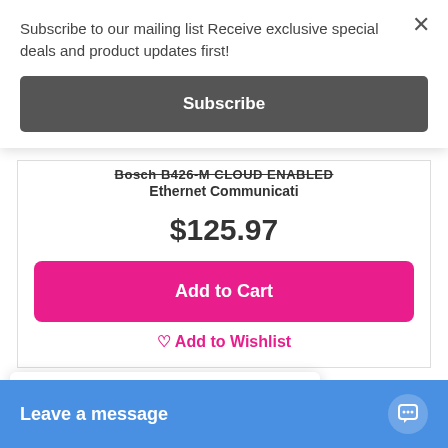Subscribe to our mailing list Receive exclusive special deals and product updates first!
Subscribe
Bosch B426-M CLOUD ENABLED Ethernet Communicati
$125.97
Add to Cart
Add to Wishlist
Someone in Caniaba bought a Bosch B426-M CLOUD ENABLED - Ethernet Communication Module for 2000/3000
1 hour ago
Leave a message